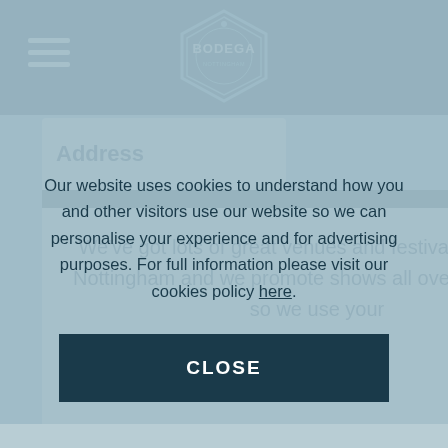[Figure (logo): Bodega Nottingham hexagonal logo badge in dark teal]
Address
We've got lots of great venues and festivals outside of Nottingham and we promote shows all over the country so we use your postcode to keep you up to
Our website uses cookies to understand how you and other visitors use our website so we can personalise your experience and for advertising purposes. For full information please visit our cookies policy here.
CLOSE